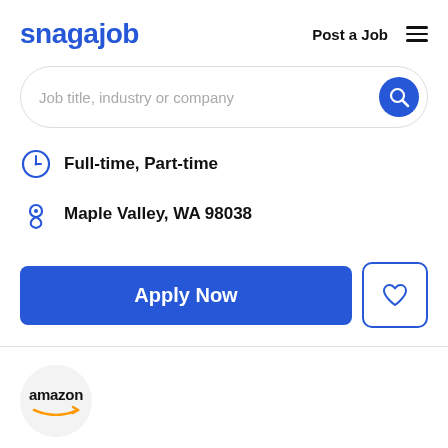snagajob   Post a Job
Job title, industry or company
Full-time, Part-time
Maple Valley, WA 98038
Apply Now
[Figure (logo): Amazon logo with smile arrow]
Amazon DSP